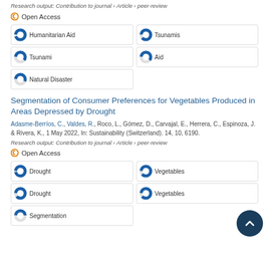Research output: Contribution to journal › Article › peer-review
Open Access
Humanitarian Aid
Tsunamis
Tsunami
Aid
Natural Disaster
Segmentation of Consumer Preferences for Vegetables Produced in Areas Depressed by Drought
Adasme-Berríos, C., Valdes, R., Roco, L., Gómez, D., Carvajal, E., Herrera, C., Espinoza, J. & Rivera, K., 1 May 2022, In: Sustainability (Switzerland). 14, 10, 6190.
Research output: Contribution to journal › Article › peer-review
Open Access
Drought
Vegetables
Drought
Vegetables
Segmentation